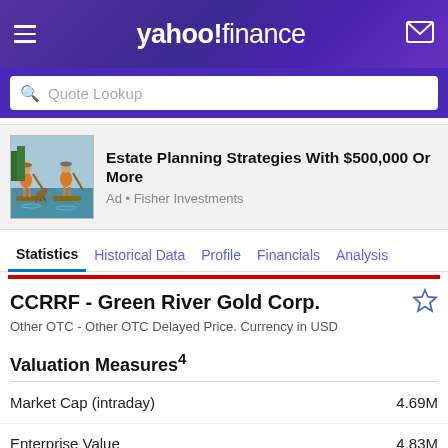yahoo! finance
Quote Lookup
[Figure (illustration): Illustration of two people paddleboarding with a dog, used for Fisher Investments ad]
Estate Planning Strategies With $500,000 Or More
Ad • Fisher Investments
Statistics | Historical Data | Profile | Financials | Analysis
CCRRF - Green River Gold Corp.
Other OTC - Other OTC Delayed Price. Currency in USD
Valuation Measures⁴
| Measure | Value |
| --- | --- |
| Market Cap (intraday) | 4.69M |
| Enterprise Value | 4.83M |